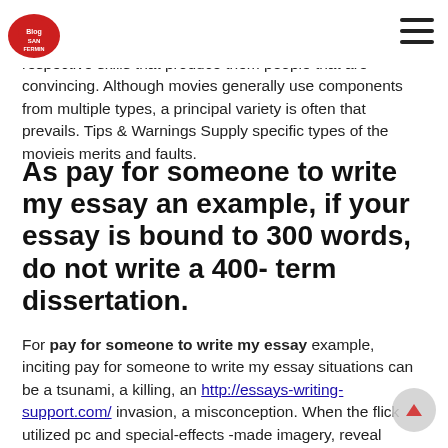Blog San Fermin
story. Recognize the picture's character and villain and examine pay someone to write my essay flaws and the respective skills that produce them people that are convincing. Although movies generally use components from multiple types, a principal variety is often that prevails. Tips & Warnings Supply specific types of the movieis merits and faults.
As pay for someone to write my essay an example, if your essay is bound to 300 words, do not write a 400- term dissertation.
For pay for someone to write my essay example, inciting pay for someone to write my essay situations can be a tsunami, a killing, an http://essays-writing-support.com/ invasion, a misconception. When the flick utilized pc and special-effects -made imagery, reveal whether pay for someone to write my essay you felt these factors enhanced your enjoyment of the film or were a disruption to hide an otherwise fragile piece. Examine the manager's position inside the creation. As an example, «Love conquers all,» «Bloodstream is thicker than water,» «All that glitters isn't pay for someone to write